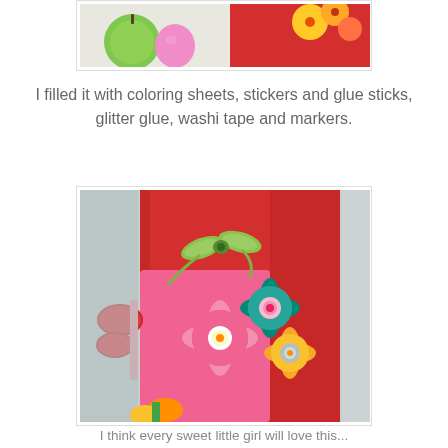[Figure (photo): Top portion of a photo showing green apple, pink balloon, red fabric/bag, and colorful yellow flowers against a light background.]
I filled it with coloring sheets, stickers and glue sticks, glitter glue, washi tape and markers.
[Figure (photo): Close-up photo of a red felt bag with decorative felt flowers (pink, teal/blue, yellow-gold) with button centers and a small green plaid ribbon bow at the top. Red scissors visible on the left side.]
I think every sweet little girl will love this...